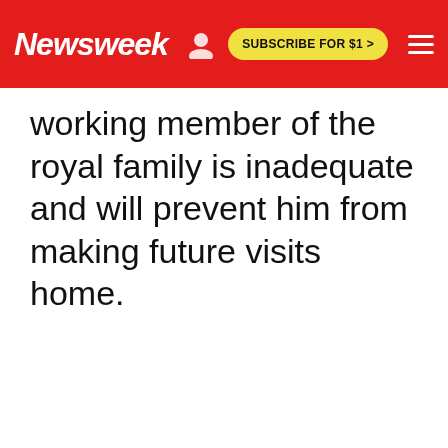Newsweek | SUBSCRIBE FOR $1 >
working member of the royal family is inadequate and will prevent him from making future visits home.